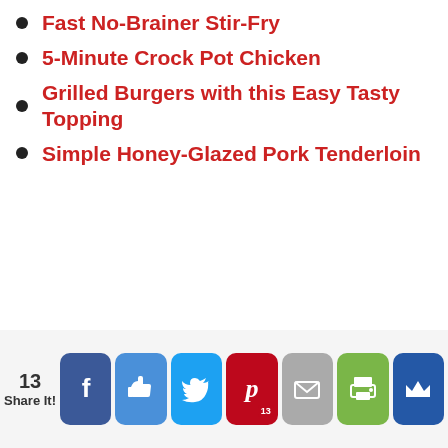Fast No-Brainer Stir-Fry
5-Minute Crock Pot Chicken
Grilled Burgers with this Easy Tasty Topping
Simple Honey-Glazed Pork Tenderloin
13 Share It! [Facebook] [Like] [Twitter] [Pinterest 13] [Email] [Print] [Crown]